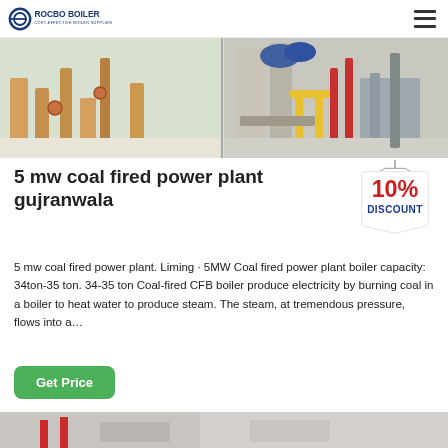ROCBO BOILER — COST-EFFECTIVE BOILER SUPPLIER
[Figure (photo): Industrial boiler room showing pipes, valves, and boiler equipment in two panel view]
5 mw coal fired power plant gujranwala
[Figure (illustration): 10% DISCOUNT badge/tag graphic in red and blue]
5 mw coal fired power plant. Liming · 5MW Coal fired power plant boiler capacity: 34ton-35 ton. 34-35 ton Coal-fired CFB boiler produce electricity by burning coal in a boiler to heat water to produce steam. The steam, at tremendous pressure, flows into a…
[Figure (photo): Partial bottom image of industrial equipment or boiler room]